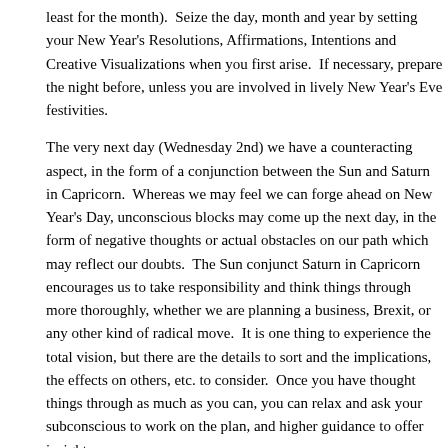least for the month). Seize the day, month and year by setting your New Year's Resolutions, Affirmations, Intentions and Creative Visualizations when you first arise. If necessary, prepare the night before, unless you are involved in lively New Year's Eve festivities.
The very next day (Wednesday 2nd) we have a counteracting aspect, in the form of a conjunction between the Sun and Saturn in Capricorn. Whereas we may feel we can forge ahead on New Year's Day, unconscious blocks may come up the next day, in the form of negative thoughts or actual obstacles on our path which may reflect our doubts. The Sun conjunct Saturn in Capricorn encourages us to take responsibility and think things through more thoroughly, whether we are planning a business, Brexit, or any other kind of radical move. It is one thing to experience the total vision, but there are the details to sort and the implications, the effects on others, etc. to consider. Once you have thought things through as much as you can, you can relax and ask your subconscious to work on the plan, and higher guidance to offer insight.
Friday (4th), early in the day, brings us a helpful trine between Mercury and Uranus, especially suitable for upgrading technological appliances. We may receive new ideas about our projects, embellishing our hopes and wishes from the first day of the year. Lightbulb moments abound.
In the evening, the Sun sextiles Neptune, making this the best day of the week. Spiritual nourishment is available, whether through walking in nature, or listening to music, or engaging in creative pursuits. Something which touches you that day may inspire you to paint, or write a poem.